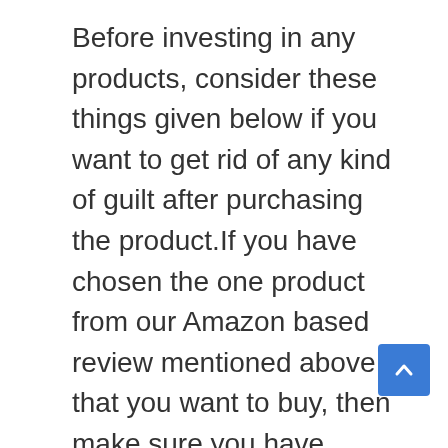Before investing in any products, consider these things given below if you want to get rid of any kind of guilt after purchasing the product.If you have chosen the one product from our Amazon based review mentioned above that you want to buy, then make sure you have considered the given below things. It will assist you with utilizing your cash.
Highlights:
A few characteristics are like all items and are crucial. A few highlights, then again